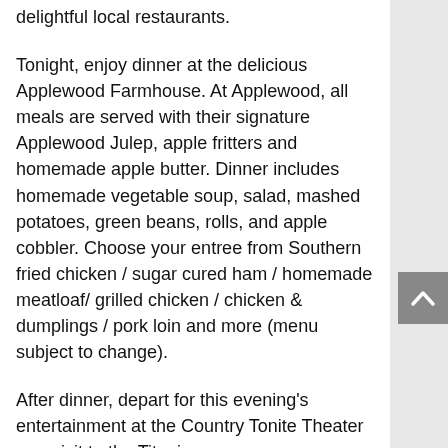delightful local restaurants.
Tonight, enjoy dinner at the delicious Applewood Farmhouse. At Applewood, all meals are served with their signature Applewood Julep, apple fritters and homemade apple butter. Dinner includes homemade vegetable soup, salad, mashed potatoes, green beans, rolls, and apple cobbler. Choose your entree from Southern fried chicken / sugar cured ham / homemade meatloaf/ grilled chicken / chicken & dumplings / pork loin and more (menu subject to change).
After dinner, depart for this evening's entertainment at the Country Tonite Theater or a visit to the Titanic.
The Country Tonite Christmas Show abounds as the talented renditions of Christmas favorites combined with beautiful choreography, brightly decorated holiday sets and colorful costumes bring the enchantment of